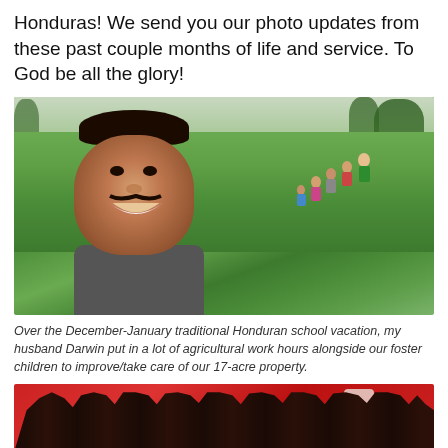Honduras! We send you our photo updates from these past couple months of life and service. To God be all the glory!
[Figure (photo): Selfie of a smiling man (Darwin) in a green agricultural field with a group of children/workers working in the background on a cloudy day in Honduras]
Over the December-January traditional Honduran school vacation, my husband Darwin put in a lot of agricultural work hours alongside our foster children to improve/take care of our 17-acre property.
[Figure (photo): Partial photo showing dark hands held up against a red background, with what appears to be a small white object]